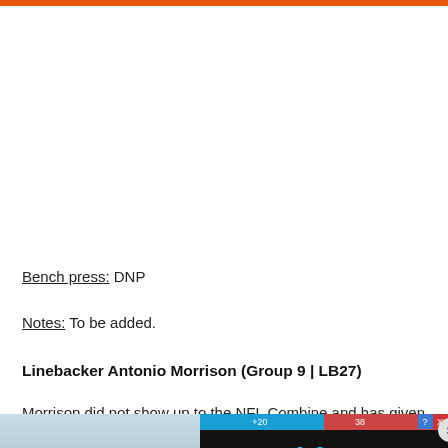Bench press: DNP
Notes: To be added.
Linebacker Antonio Morrison (Group 9 | LB27)
Morrison did not show up to the NFL Combine and has given no exple
[Figure (screenshot): Advertisement overlay showing a game 'Hold and Move' with icon of two figures, blue and red bar at top, and close button. Outdoor scene visible behind ad.]